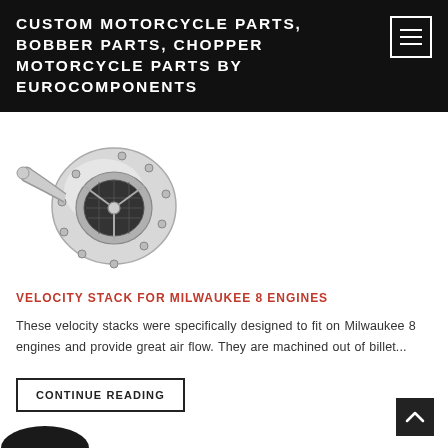CUSTOM MOTORCYCLE PARTS, BOBBER PARTS, CHOPPER MOTORCYCLE PARTS BY EUROCOMPONENTS
[Figure (photo): A chrome/silver velocity stack air filter component for Milwaukee 8 engines, shown at an angle against a white background.]
VELOCITY STACK FOR MILWAUKEE 8 ENGINES
These velocity stacks were specifically designed to fit on Milwaukee 8 engines and provide great air flow. They are machined out of billet...
CONTINUE READING